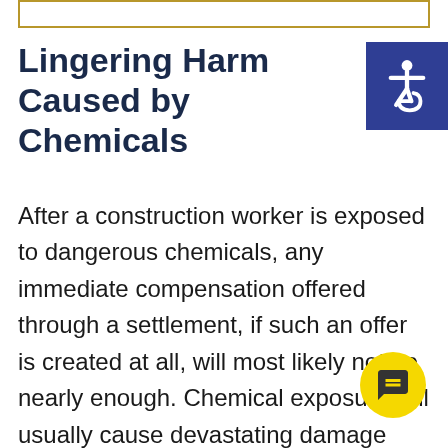Lingering Harm Caused by Chemicals
After a construction worker is exposed to dangerous chemicals, any immediate compensation offered through a settlement, if such an offer is created at all, will most likely not be nearly enough. Chemical exposure will usually cause devastating damage immediately but even more harm as time goes on and symptoms worsen or become noticeable. Before you accept any settlement offers, be sure to get fully evaluated by a physician and speak to your